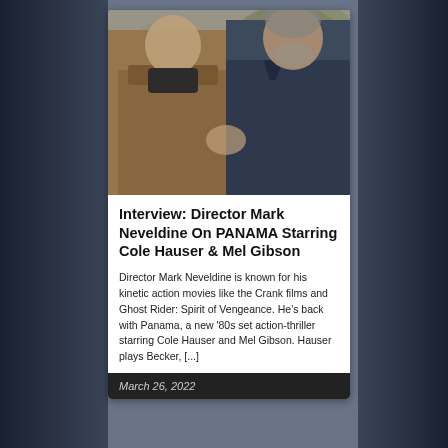[Figure (photo): Two men facing each other in conversation outdoors. Left figure wears a brown/tan jacket, right figure wears a dark navy shirt. Background is blurred greenery.]
Interview: Director Mark Neveldine On PANAMA Starring Cole Hauser & Mel Gibson
Director Mark Neveldine is known for his kinetic action movies like the Crank films and Ghost Rider: Spirit of Vengeance. He's back with Panama, a new '80s set action-thriller starring Cole Hauser and Mel Gibson. Hauser plays Becker, [...]
March 26, 2022